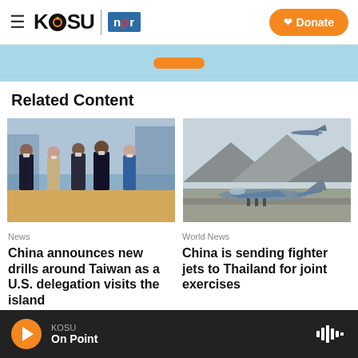KOSU | NPR — Donate
Related Content
[Figure (photo): Group of officials and delegates walking, wearing masks, formal attire]
[Figure (photo): Military fighter jets on an airfield with mountains in the background and a jet flying overhead]
News
China announces new drills around Taiwan as a U.S. delegation visits the island
World News
China is sending fighter jets to Thailand for joint exercises
KOSU — On Point